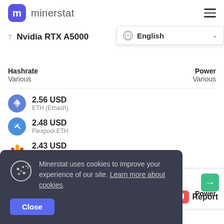minerstat
7  Nvidia RTX A5000
English
| Hashrate | Power |
| --- | --- |
| Various | Various |
2.56 USD
ETH (Ethash)
2.48 USD
Flexpool ETH
2.43 USD
Hiveon ETH
8  Nvidia RTX 3080
| Hashrate | Power |
| --- | --- |
| Various |  |
Report
Minerstat uses cookies to improve your experience of our site. Learn more about cookies.
Close
2.24 USD